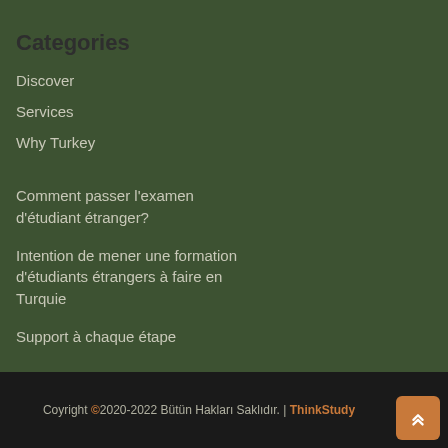Categories
Discover
Services
Why Turkey
Comment passer l'examen d'étudiant étranger?
Intention de mener une formation d'étudiants étrangers à faire en Turquie
Support à chaque étape
Coyright © 2020-2022 Bütün Hakları Saklıdır. | ThinkStudy